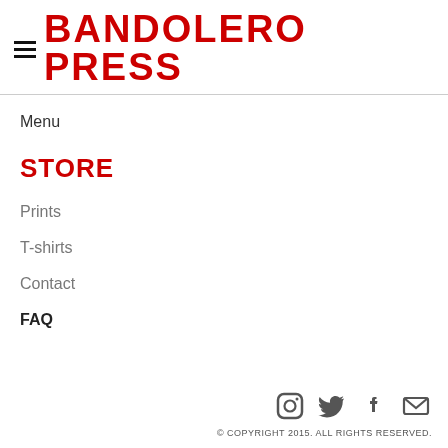BANDOLERO PRESS
Menu
STORE
Prints
T-shirts
Contact
FAQ
© COPYRIGHT 2015. ALL RIGHTS RESERVED.